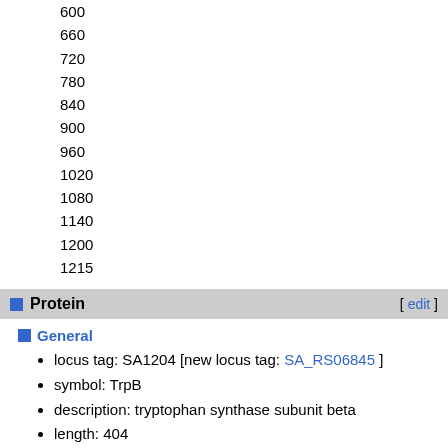600
660
720
780
840
900
960
1020
1080
1140
1200
1215
Protein [ edit ]
General
locus tag: SA1204 [new locus tag: SA_RS06845 ]
symbol: TrpB
description: tryptophan synthase subunit beta
length: 404
theoretical pI: 5.18038
theoretical MW: 43906.5
GRAVY: -0.22203